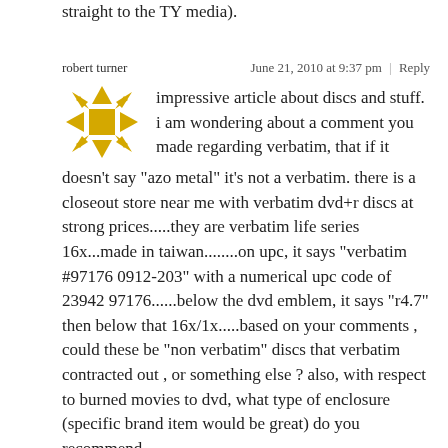straight to the TY media).
robert turner
June 21, 2010 at 9:37 pm | Reply
impressive article about discs and stuff. i am wondering about a comment you made regarding verbatim, that if it doesn't say "azo metal" it's not a verbatim. there is a closeout store near me with verbatim dvd+r discs at strong prices.....they are verbatim life series 16x...made in taiwan........on upc, it says "verbatim #97176 0912-203" with a numerical upc code of 23942 97176......below the dvd emblem, it says "r4.7" then below that 16x/1x.....based on your comments , could these be "non verbatim" discs that verbatim contracted out , or something else ? also, with respect to burned movies to dvd, what type of enclosure (specific brand item would be great) do you recommend